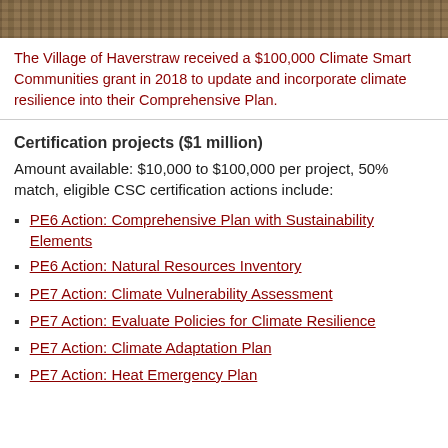[Figure (photo): Aerial or landscape photo showing rocky terrain, appearing as a banner strip at top of page]
The Village of Haverstraw received a $100,000 Climate Smart Communities grant in 2018 to update and incorporate climate resilience into their Comprehensive Plan.
Certification projects ($1 million)
Amount available: $10,000 to $100,000 per project, 50% match, eligible CSC certification actions include:
PE6 Action: Comprehensive Plan with Sustainability Elements
PE6 Action: Natural Resources Inventory
PE7 Action: Climate Vulnerability Assessment
PE7 Action: Evaluate Policies for Climate Resilience
PE7 Action: Climate Adaptation Plan
PE7 Action: Heat Emergency Plan